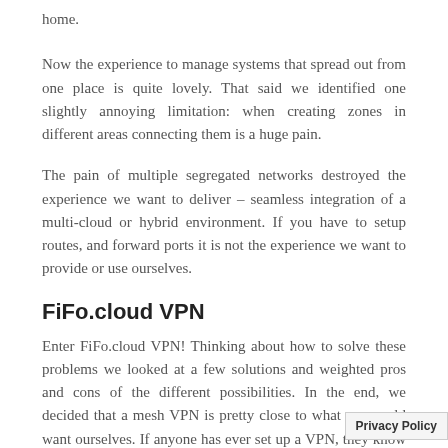home.
Now the experience to manage systems that spread out from one place is quite lovely. That said we identified one slightly annoying limitation: when creating zones in different areas connecting them is a huge pain.
The pain of multiple segregated networks destroyed the experience we want to deliver – seamless integration of a multi-cloud or hybrid environment. If you have to setup routes, and forward ports it is not the experience we want to provide or use ourselves.
FiFo.cloud VPN
Enter FiFo.cloud VPN! Thinking about how to solve these problems we looked at a few solutions and weighted pros and cons of the different possibilities. In the end, we decided that a mesh VPN is pretty close to what we would want ourselves. If anyone has ever set up a VPN, they know that it is not exactly something that falls into the category of “fun” (spoile